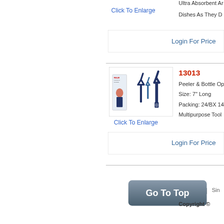Click To Enlarge
Ultra Absorbent Ar...
Dishes As They D...
Login For Price
[Figure (photo): Peeler and bottle opener product photo showing two dark blue kitchen tools and product packaging]
Click To Enlarge
13013
Peeler & Bottle Op...
Size: 7" Long
Packing: 24/BX 14...
Multipurpose Tool...
Login For Price
| Sin...
Go To Top
Copyright ©